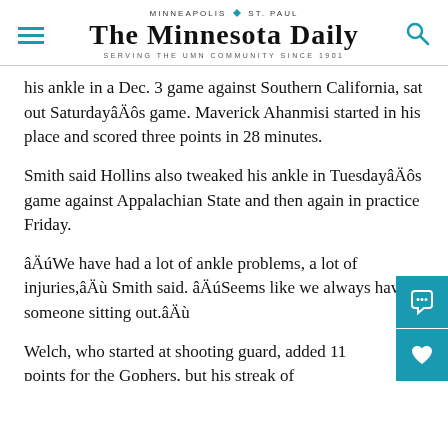MINNEAPOLIS  |  ST. PAUL
THE MINNESOTA DAILY
SERVING THE UMN COMMUNITY SINCE 1901
his ankle in a Dec. 3 game against Southern California, sat out SaturdayâÄôs game. Maverick Ahanmisi started in his place and scored three points in 28 minutes.
Smith said Hollins also tweaked his ankle in TuesdayâÄôs game against Appalachian State and then again in practice Friday.
âÄúWe have had a lot of ankle problems, a lot of injuries,âÄù Smith said. âÄúSeems like we always have someone sitting out.âÄù
Welch, who started at shooting guard, added 11 points for the Gophers, but his streak of consecutive-made free throws ended at 25.